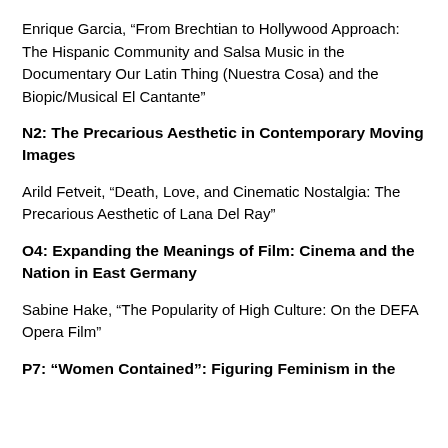Enrique Garcia, “From Brechtian to Hollywood Approach: The Hispanic Community and Salsa Music in the Documentary Our Latin Thing (Nuestra Cosa) and the Biopic/Musical El Cantante”
N2: The Precarious Aesthetic in Contemporary Moving Images
Arild Fetveit, “Death, Love, and Cinematic Nostalgia: The Precarious Aesthetic of Lana Del Ray”
O4: Expanding the Meanings of Film: Cinema and the Nation in East Germany
Sabine Hake, “The Popularity of High Culture: On the DEFA Opera Film”
P7: “Women Contained”: Figuring Feminism in the